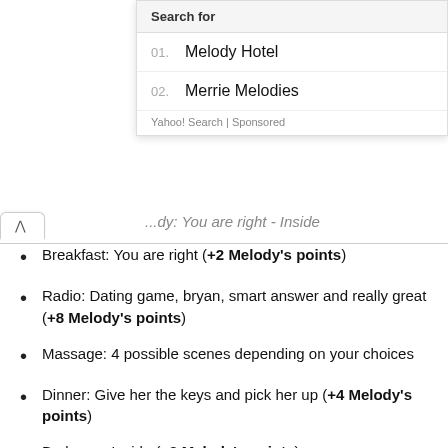Search for
01. Melody Hotel
02. Merrie Melodies
Yahoo! Search | Sponsored
Breakfast: You are right (+2 Melody’s points)
Radio: Dating game, bryan, smart answer and really great (+8 Melody’s points)
Massage: 4 possible scenes depending on your choices
Dinner: Give her the keys and pick her up (+4 Melody’s points)
Bedroom: Inside (+2 Melody’s points)
Sophia and Xianne path: Scene
Melody & Sophia path: different scenes depending on your previous choices, but if you can choose “Next to